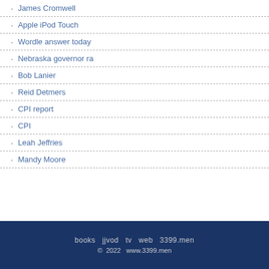James Cromwell
Apple iPod Touch
Wordle answer today
Nebraska governor ra
Bob Lanier
Reid Detmers
CPI report
CPI
Leah Jeffries
Mandy Moore
books  jjvod  tv  web  3399.men
© 2022  www.3399.men